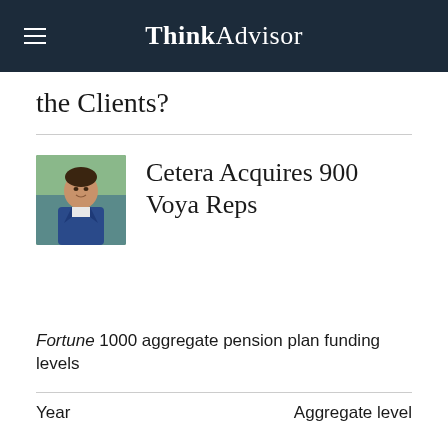ThinkAdvisor
the Clients?
[Figure (photo): Headshot of a man in a blue suit jacket, smiling, outdoors with blurred green background]
Cetera Acquires 900 Voya Reps
Fortune 1000 aggregate pension plan funding levels
| Year | Aggregate level |
| --- | --- |